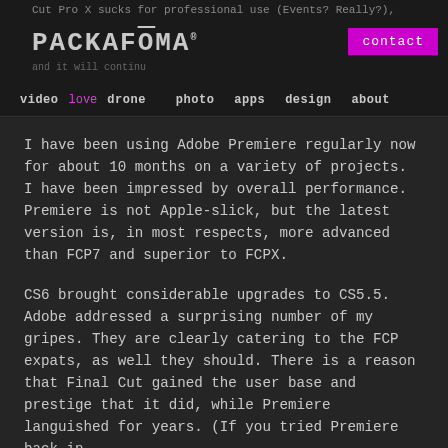Cut Pro X sucks for professional use (Events? Really?),
PACKAFŌMA®
and it will continue
video love drone   photo   apps   design   about
I have been using Adobe Premiere regularly now for about 10 months on a variety of projects. I have been impressed by overall performance. Premiere is not Apple-slick, but the latest version is, in most respects, more advanced than FCP7 and superior to FCPX.
CS6 brought considerable upgrades to CS5.5. Adobe addressed a surprising number of my gripes. They are clearly catering to the FCP expats, as well they should. There is a reason that Final Cut gained the user base and prestige that it did, while Premiere languished for years. (If you tried Premiere back in